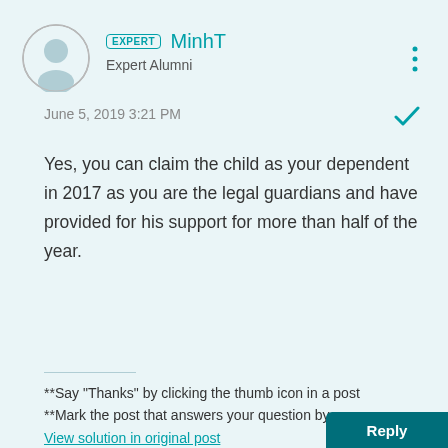[Figure (illustration): User avatar icon: circular silhouette of a person with a teal/blue tint]
EXPERT MinhT
Expert Alumni
June 5, 2019 3:21 PM
Yes, you can claim the child as your dependent in 2017 as you are the legal guardians and have provided for his support for more than half of the year.
**Say "Thanks" by clicking the thumb icon in a post
**Mark the post that answers your question by
View solution in original post
0 Cheers
Reply